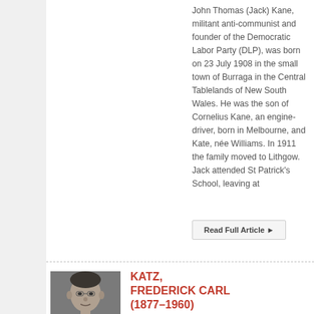John Thomas (Jack) Kane, militant anti-communist and founder of the Democratic Labor Party (DLP), was born on 23 July 1908 in the small town of Burraga in the Central Tablelands of New South Wales. He was the son of Cornelius Kane, an engine-driver, born in Melbourne, and Kate, née Williams. In 1911 the family moved to Lithgow. Jack attended St Patrick's School, leaving at
Read Full Article ▶
[Figure (photo): Black and white portrait photo of Frederick Carl Katz, an older man wearing a suit and tie, looking directly at the camera with a serious expression.]
KATZ, FREDERICK CARL (1877–1960)
SENATOR FOR VICTORIA, 1947–51 (AUSTRALIAN LABOR